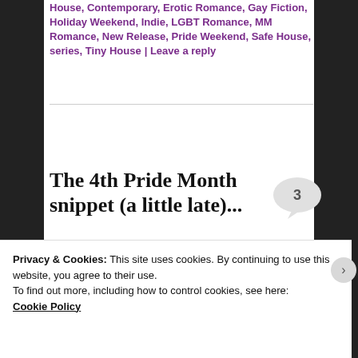House, Contemporary, Erotic Romance, Gay Fiction, Holiday Weekend, Indie, LGBT Romance, MM Romance, New Release, Pride Weekend, Safe House, series, Tiny House | Leave a reply
The 4th Pride Month snippet (a little late)...
Posted on July 3, 2020
[Figure (photo): Partial view of a blue-toned image, appears to be related to Pride Month content]
Privacy & Cookies: This site uses cookies. By continuing to use this website, you agree to their use.
To find out more, including how to control cookies, see here: Cookie Policy
Close and accept